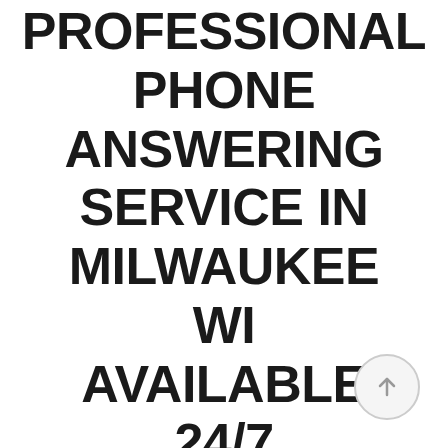PROFESSIONAL PHONE ANSWERING SERVICE IN MILWAUKEE WI AVAILABLE 24/7
[Figure (other): A circular scroll-to-top button with an upward arrow icon]